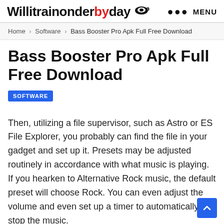Willitrainonderbyday MENU
Home > Software > Bass Booster Pro Apk Full Free Download
Bass Booster Pro Apk Full Free Download
SOFTWARE
Then, utilizing a file supervisor, such as Astro or ES File Explorer, you probably can find the file in your gadget and set up it. Presets may be adjusted routinely in accordance with what music is playing. If you hearken to Alternative Rock music, the default preset will choose Rock. You can even adjust the volume and even set up a timer to automatically stop the music.